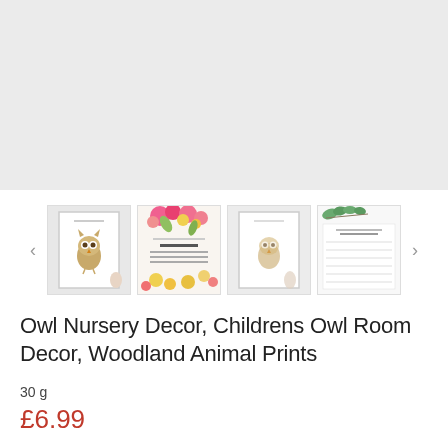[Figure (photo): Large light grey placeholder area representing the main product image]
[Figure (photo): Thumbnail carousel showing four product images: an owl print in white frame, a colorful floral card, another owl print in frame, and a lined note card with eucalyptus leaves. Navigation arrows on both sides.]
Owl Nursery Decor, Childrens Owl Room Decor, Woodland Animal Prints
30 g
£6.99